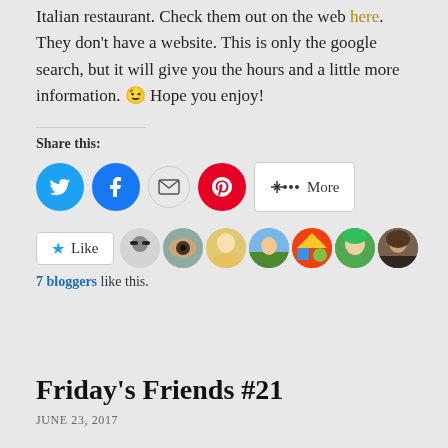Italian restaurant. Check them out on the web here. They don't have a website. This is only the google search, but it will give you the hours and a little more information. 😉 Hope you enjoy!
Share this:
[Figure (infographic): Social share buttons: Twitter (blue circle), Facebook (blue circle), Email (envelope icon), Pinterest (red circle), More button]
[Figure (infographic): Like button with star icon and 7 blogger avatars shown in a row]
7 bloggers like this.
Friday's Friends #21
JUNE 23, 2017